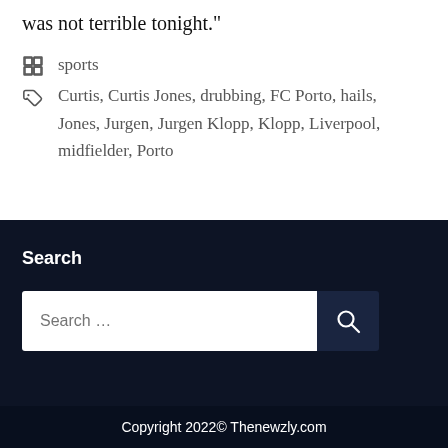was not terrible tonight."
sports
Curtis, Curtis Jones, drubbing, FC Porto, hails, Jones, Jurgen, Jurgen Klopp, Klopp, Liverpool, midfielder, Porto
Search
Copyright 2022© Thenewzly.com